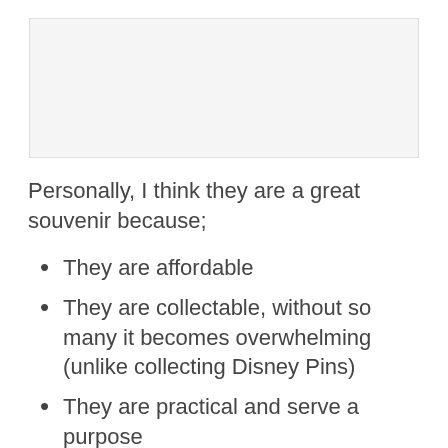[Figure (photo): Image placeholder area at top of page]
Personally, I think they are a great souvenir because;
They are affordable
They are collectable, without so many it becomes overwhelming (unlike collecting Disney Pins)
They are practical and serve a purpose